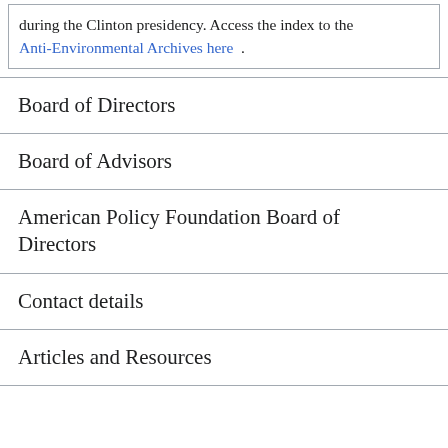during the Clinton presidency. Access the index to the Anti-Environmental Archives here .
Board of Directors
Board of Advisors
American Policy Foundation Board of Directors
Contact details
Articles and Resources